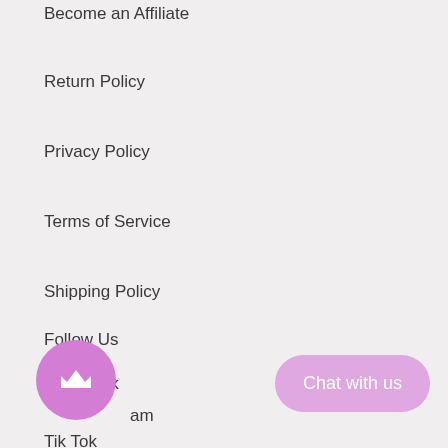Become an Affiliate
Return Policy
Privacy Policy
Terms of Service
Shipping Policy
Follow Us
Facebook
Instagram
TikTok